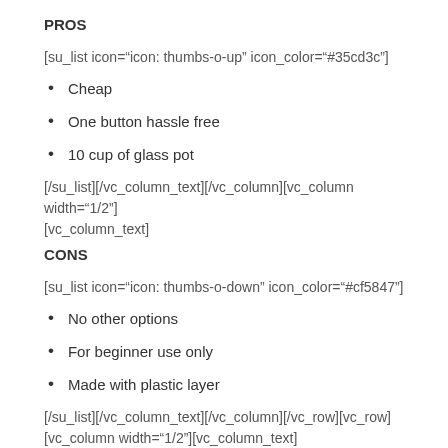PROS
[su_list icon="icon: thumbs-o-up" icon_color="#35cd3c"]
Cheap
One button hassle free
10 cup of glass pot
[/su_list][/vc_column_text][/vc_column][vc_column width="1/2"] [vc_column_text]
CONS
[su_list icon="icon: thumbs-o-down" icon_color="#cf5847"]
No other options
For beginner use only
Made with plastic layer
[/su_list][/vc_column_text][/vc_column][/vc_row][vc_row] [vc_column width="1/2"][vc_column_text]